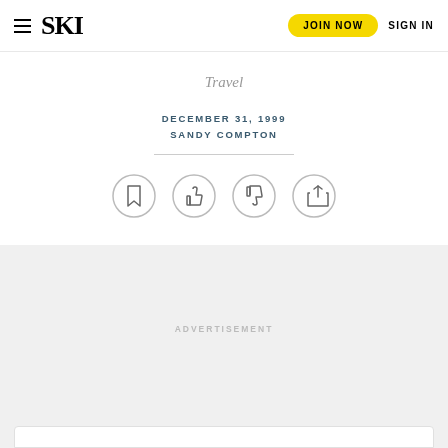SKI | JOIN NOW | SIGN IN
Travel
DECEMBER 31, 1999
SANDY COMPTON
[Figure (infographic): Row of four circular icon buttons: bookmark, thumbs up, thumbs down, share]
ADVERTISEMENT